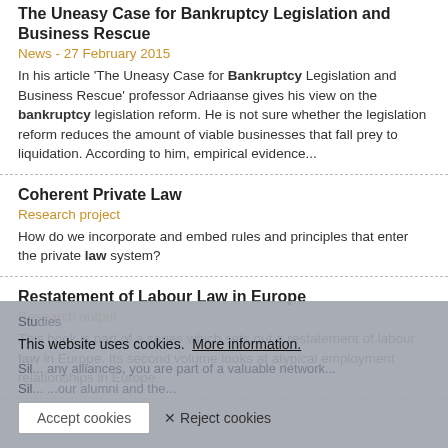The Uneasy Case for Bankruptcy Legislation and Business Rescue
News - 27 February 2015
In his article 'The Uneasy Case for Bankruptcy Legislation and Business Rescue' professor Adriaanse gives his view on the bankruptcy legislation reform. He is not sure whether the legislation reform reduces the amount of viable businesses that fall prey to liquidation. According to him, empirical evidence...
Coherent Private Law
Research project
How do we incorporate and embed rules and principles that enter the private law system?
Restatement of Labour Law in Europe
Research output
This book is part of a series which sets out a restatement of labour law in Europe. Its second volume looks at atypical employment relationships in Europe.
Law